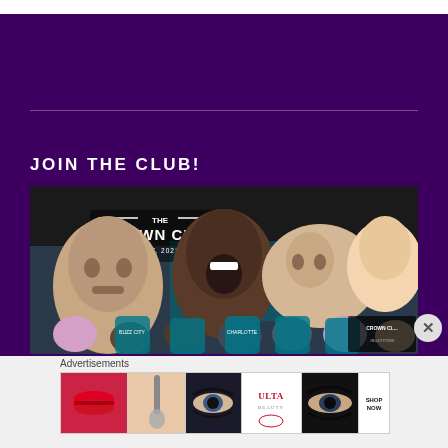JOIN THE CLUB!
[Figure (photo): Charlotte Hornets Crown Club photo showing fans holding player cutout heads (LaMelo Ball, others) and mascot props, with 'The Crown Club Est. 2021' logo overlay. Fans wearing teal and purple Hornets gear.]
Advertisements
[Figure (photo): Ulta Beauty advertisement banner showing makeup imagery (lips, makeup brush, eye with dramatic makeup, Ulta Beauty logo, eyes with bold eye makeup) and 'SHOP NOW' call to action]